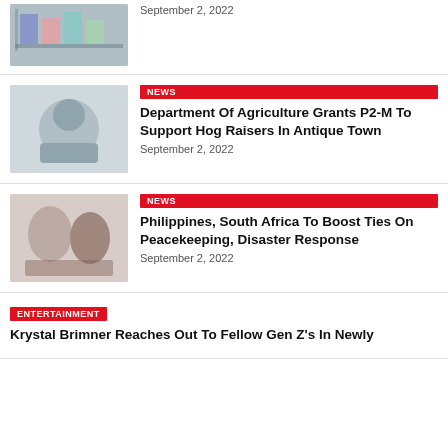[Figure (photo): Thumbnail image of shelves with products, partially visible at top]
September 2, 2022
[Figure (photo): Thumbnail image of a person, possibly a farmer or livestock owner]
NEWS
Department Of Agriculture Grants P2-M To Support Hog Raisers In Antique Town
September 2, 2022
[Figure (photo): Thumbnail image of people, possibly related to peacekeeping or diplomacy]
NEWS
Philippines, South Africa To Boost Ties On Peacekeeping, Disaster Response
September 2, 2022
ENTERTAINMENT
Krystal Brimner Reaches Out To Fellow Gen Z's In Newly